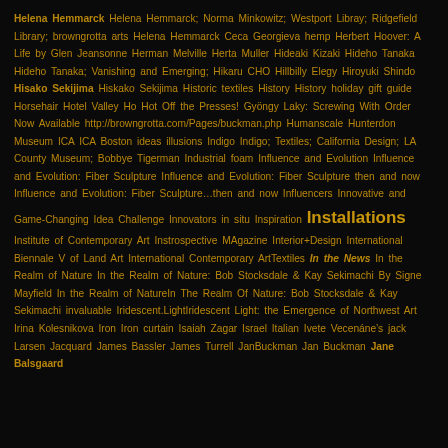Helena Hemmarck Helena Hemmarck; Norma Minkowitz; Westport Libray; Ridgefield Library; browngrotta arts Helena Hemmarck Ceca Georgieva hemp Herbert Hoover: A Life by Glen Jeansonne Herman Melville Herta Muller Hideaki Kizaki Hideho Tanaka Hideho Tanaka; Vanishing and Emerging; Hikaru CHO Hillbilly Elegy Hiroyuki Shindo Hisako Sekijima Hiskako Sekijima Historic textiles History History holiday gift guide Horsehair Hotel Valley Ho Hot Off the Presses! Gyöngy Laky: Screwing With Order Now Available http://browngrotta.com/Pages/buckman.php Humanscale Hunterdon Museum ICA ICA Boston ideas illusions Indigo Indigo; Textiles; California Design; LA County Museum; Bobbye Tigerman Industrial foam Influence and Evolution Influence and Evolution: Fiber Sculpture Influence and Evolution: Fiber Sculpture then and now Influence and Evolution: Fiber Sculpture...then and now Influencers Innovative and Game-Changing Idea Challenge Innovators in situ Inspiration Installations Institute of Contemporary Art Instrospective MAgazine Interior+Design International Biennale V of Land Art International Contemporary ArtTextiles In the News In the Realm of Nature In the Realm of Nature: Bob Stocksdale & Kay Sekimachi By Signe Mayfield In the Realm of NatureIn The Realm Of Nature: Bob Stocksdale & Kay Sekimachi invaluable Iridescent.LightIridescent Light: the Emergence of Northwest Art Irina Kolesnikova Iron Iron curtain Isaiah Zagar Israel Italian Ivete Vecenáne's jack Larsen Jacquard James Bassler James Turrell JanBuckman Jan Buckman Jane Balsgaard